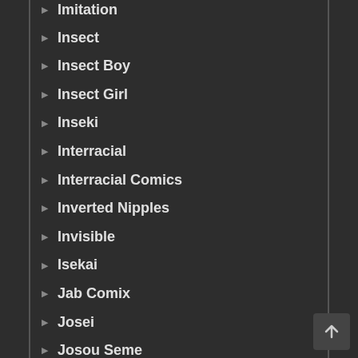Imitation
Insect
Insect Boy
Insect Girl
Inseki
Interracial
Interracial Comics
Inverted Nipples
Invisible
Isekai
Jab Comix
Josei
Josou Seme